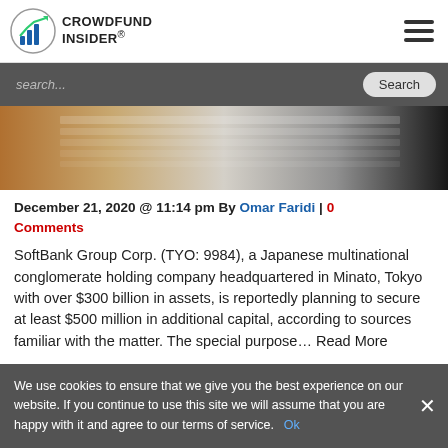CROWDFUND INSIDER
search...
[Figure (photo): Close-up photo of a stack of papers or pages, blurred, with warm and dark tones]
December 21, 2020 @ 11:14 pm By Omar Faridi | 0 Comments
SoftBank Group Corp. (TYO: 9984), a Japanese multinational conglomerate holding company headquartered in Minato, Tokyo with over $300 billion in assets, is reportedly planning to secure at least $500 million in additional capital, according to sources familiar with the matter. The special purpose… Read More
We use cookies to ensure that we give you the best experience on our website. If you continue to use this site we will assume that you are happy with it and agree to our terms of service. Ok